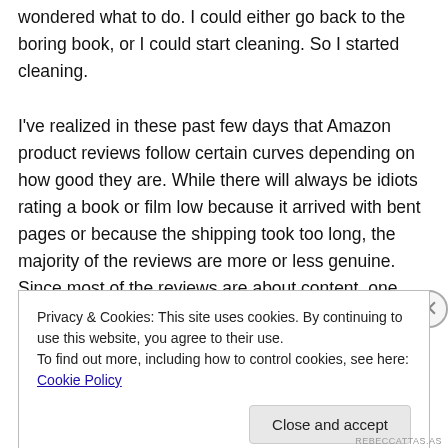wondered what to do. I could either go back to the boring book, or I could start cleaning. So I started cleaning.

I've realized in these past few days that Amazon product reviews follow certain curves depending on how good they are. While there will always be idiots rating a book or film low because it arrived with bent pages or because the shipping took too long, the majority of the reviews are more or less genuine. Since most of the reviews are about content, one can tell how good a book is just from it's review curve.
Privacy & Cookies: This site uses cookies. By continuing to use this website, you agree to their use.
To find out more, including how to control cookies, see here: Cookie Policy
Close and accept
REBECCATTAS.AS